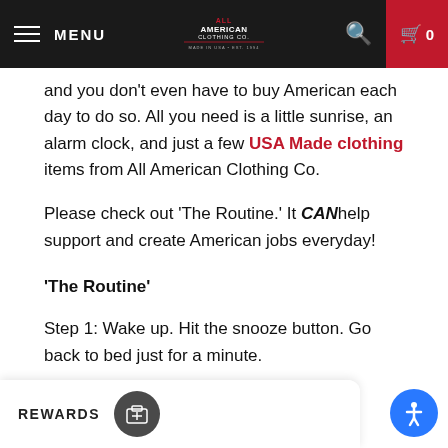MENU | All American Clothing Co. | Search | Cart 0
and you don't even have to buy American each day to do so. All you need is a little sunrise, an alarm clock, and just a few USA Made clothing items from All American Clothing Co.
Please check out 'The Routine.' It CAN help support and create American jobs everyday!
'The Routine'
Step 1: Wake up. Hit the snooze button. Go back to bed just for a minute.
Step 2: Wake up again. Get out of bed.
Step 3: Take a shower.